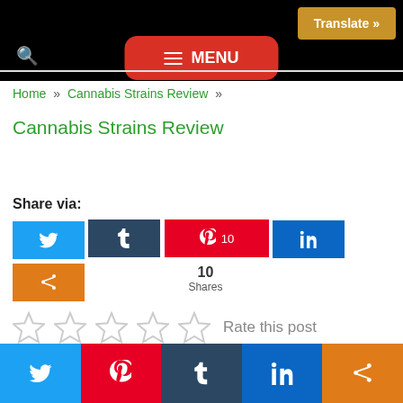Translate »  [search icon]  MENU
Home » Cannabis Strains Review »
Cannabis Strains Review
Share via:
[Figure (infographic): Social share buttons: Twitter, Tumblr, Pinterest (10), LinkedIn, Share. Below: 10 Shares count.]
[Figure (infographic): Five empty star rating icons followed by 'Rate this post' label]
Twitter | Pinterest | Tumblr | LinkedIn | Share — bottom social bar